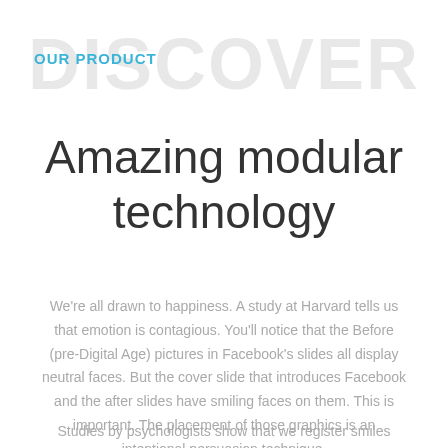OUR PRODUCT
Amazing modular technology
We're all drawn to happiness. A study at Harvard tells us that emotion is contagious. You'll notice that the Before (pre-Digital Age) pictures in Facebook's slides all display neutral faces. But the cover slide that introduces Facebook and the after slides have smiling faces on them. This is important. The placement of those graphics is an intentional persuasion technique.
Studies by psychologists show that we register smiles faster